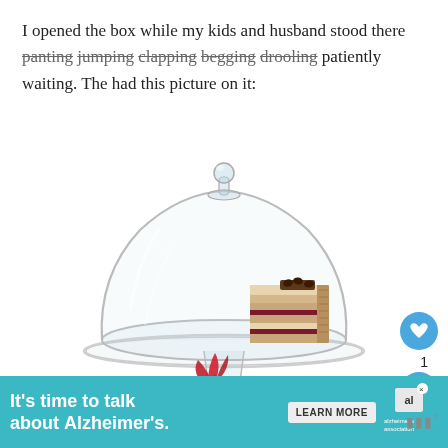I opened the box while my kids and husband stood there panting jumping clapping begging drooling patiently waiting. The had this picture on it:
[Figure (photo): A glass cake stand with a glass dome cover containing a single slice of layered cake with cream and jam filling, photographed on a white background. A red tulip is partially visible at the bottom.]
1
It's time to talk about Alzheimer's. LEARN MORE